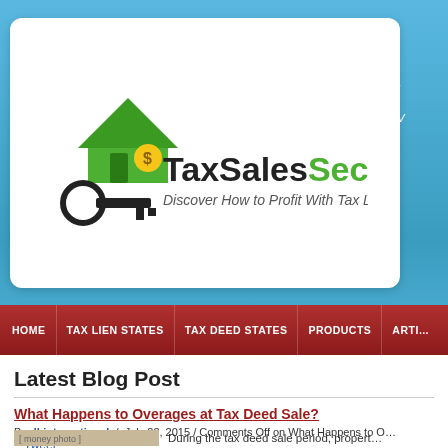[Figure (logo): Tax Sales Secrets logo with green house, key, dollar sign, and tagline 'Discover How to Profit With Tax Liens and Deeds']
"At my... a $66... Peter V..."
HOME  TAX LIEN STATES  TAX DEED STATES  PRODUCTS  ARTI...
Latest Blog Post
What Happens to Overages at Tax Deed Sale?
By dhinternational / July 22, 2015 / Comments Off on What Happens to O... Tweet
[Figure (photo): Photo of money/cash bills]
During the tax deed sale period, propert...